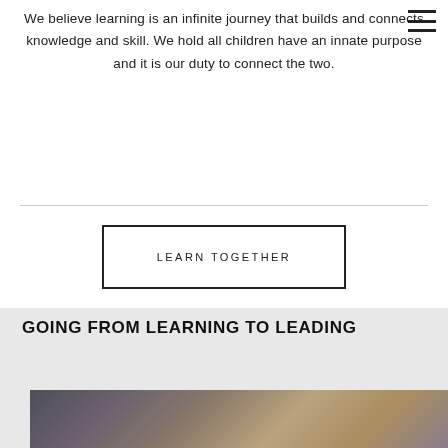[hamburger menu icon]
We believe learning is an infinite journey that builds and connects knowledge and skill. We hold all children have an innate purpose and it is our duty to connect the two.
LEARN TOGETHER
GOING FROM LEARNING TO LEADING
[Figure (photo): Photo of students or people studying/learning, shown partially at bottom of page]